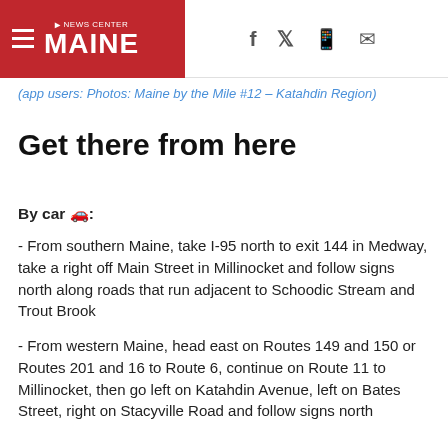NEWS CENTER MAINE
(app users: Photos: Maine by the Mile #12 – Katahdin Region)
Get there from here
By car 🚗:
- From southern Maine, take I-95 north to exit 144 in Medway, take a right off Main Street in Millinocket and follow signs north along roads that run adjacent to Schoodic Stream and Trout Brook
- From western Maine, head east on Routes 149 and 150 or Routes 201 and 16 to Route 6, continue on Route 11 to Millinocket, then go left on Katahdin Avenue, left on Bates Street, right on Stacyville Road and follow signs north